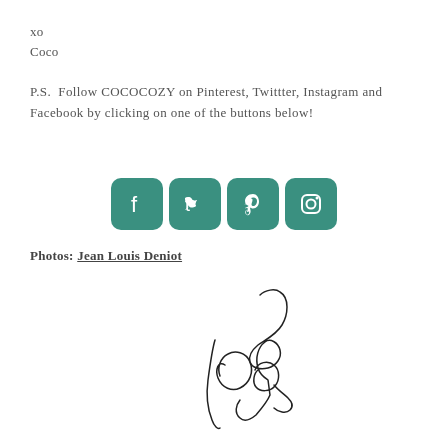xo
Coco
P.S.  Follow COCOCOZY on Pinterest, Twittter, Instagram and Facebook by clicking on one of the buttons below!
[Figure (infographic): Four teal rounded-square social media icons for Facebook, Twitter, Pinterest, and Instagram]
Photos: Jean Louis Deniot
[Figure (illustration): Handwritten cursive signature reading 'Coco']